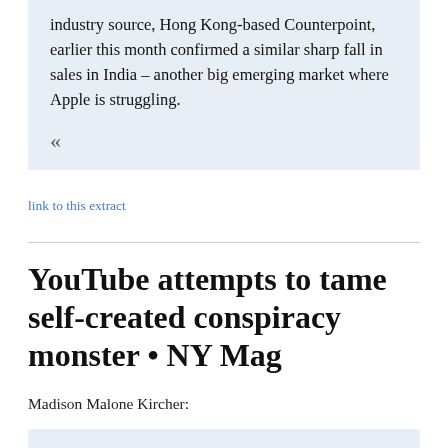industry source, Hong Kong-based Counterpoint, earlier this month confirmed a similar sharp fall in sales in India – another big emerging market where Apple is struggling.
«
link to this extract
YouTube attempts to tame self-created conspiracy monster • NY Mag
Madison Malone Kircher:
»